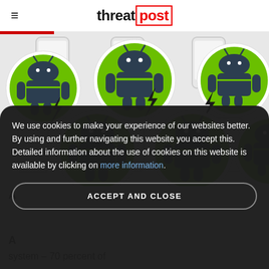threatpost
[Figure (illustration): Multiple green Android robot mascot icons arranged in circular frames with lightning bolt symbols, overlaid on phone outlines, suggesting Android malware or botnet.]
A
A
system – 70 percent of
We use cookies to make your experience of our websites better. By using and further navigating this website you accept this. Detailed information about the use of cookies on this website is available by clicking on more information.
ACCEPT AND CLOSE